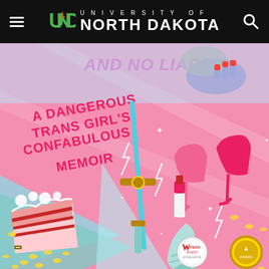University of North Dakota
[Figure (illustration): Book cover illustration for 'Liars: A Dangerous Trans Girl's Confabulous Memoir'. Pink background with illustrated items including pink high heels, a slice of red velvet cake, a sword, a mermaid tail, lipstick, bees/wasps, and stylized text. Features a Writers' Digest award seal and another gold medallion in the lower right corner.]